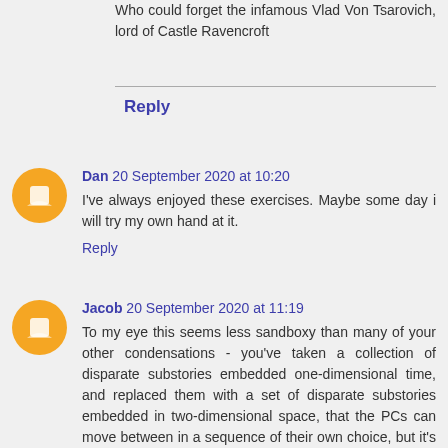Who could forget the infamous Vlad Von Tsarovich, lord of Castle Ravencroft
Reply
Dan 20 September 2020 at 10:20
I've always enjoyed these exercises. Maybe some day i will try my own hand at it.
Reply
Jacob 20 September 2020 at 11:19
To my eye this seems less sandboxy than many of your other condensations - you've taken a collection of disparate substories embedded one-dimensional time, and replaced them with a set of disparate substories embedded in two-dimensional space, that the PCs can move between in a sequence of their own choice, but it's still pretty clear where one part ends and the next begins.